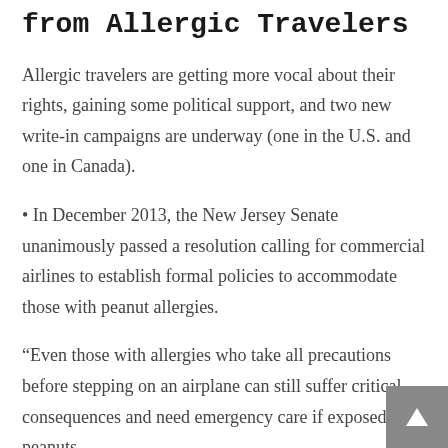from Allergic Travelers
Allergic travelers are getting more vocal about their rights, gaining some political support, and two new write-in campaigns are underway (one in the U.S. and one in Canada).
• In December 2013, the New Jersey Senate unanimously passed a resolution calling for commercial airlines to establish formal policies to accommodate those with peanut allergies.
“Even those with allergies who take all precautions before stepping on an airplane can still suffer critical consequences and need emergency care if exposed to peanuts